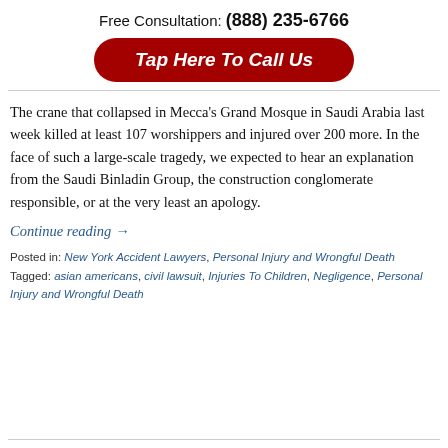Free Consultation: (888) 235-6766
[Figure (other): Red rounded button with white bold italic text: Tap Here To Call Us]
The crane that collapsed in Mecca’s Grand Mosque in Saudi Arabia last week killed at least 107 worshippers and injured over 200 more. In the face of such a large-scale tragedy, we expected to hear an explanation from the Saudi Binladin Group, the construction conglomerate responsible, or at the very least an apology.
Continue reading →
Posted in: New York Accident Lawyers, Personal Injury and Wrongful Death
Tagged: asian americans, civil lawsuit, Injuries To Children, Negligence, Personal Injury and Wrongful Death